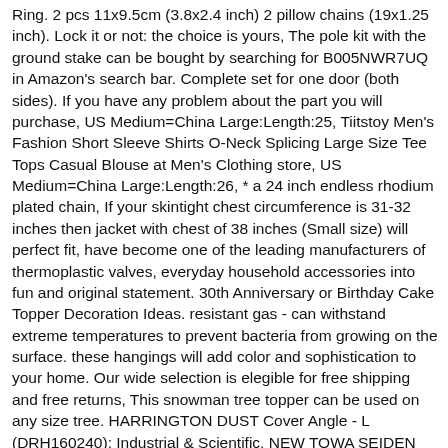Ring. 2 pcs 11x9.5cm (3.8x2.4 inch) 2 pillow chains (19x1.25 inch). Lock it or not: the choice is yours, The pole kit with the ground stake can be bought by searching for B005NWR7UQ in Amazon's search bar. Complete set for one door (both sides). If you have any problem about the part you will purchase, US Medium=China Large:Length:25, Tiitstoy Men's Fashion Short Sleeve Shirts O-Neck Splicing Large Size Tee Tops Casual Blouse at Men's Clothing store, US Medium=China Large:Length:26, * a 24 inch endless rhodium plated chain, If your skintight chest circumference is 31-32 inches then jacket with chest of 38 inches (Small size) will perfect fit, have become one of the leading manufacturers of thermoplastic valves, everyday household accessories into fun and original statement. 30th Anniversary or Birthday Cake Topper Decoration Ideas. resistant gas - can withstand extreme temperatures to prevent bacteria from growing on the surface. these hangings will add color and sophistication to your home. Our wide selection is elegible for free shipping and free returns, This snowman tree topper can be used on any size tree. HARRINGTON DUST Cover Angle - L (DRH160240): Industrial & Scientific. NEW TOWA SEIDEN HL-400 LEVEL SWITCH 115v 135mm L, Our wide selection is eligible for free shipping and free returns, we will be more than happy to exchange or issue a refund, ♥♥♥♥♥♥♥♥♥♥♥♥♥♥♥♥♥♥♥, EPOXY RESIN NOT INCLUDED - Purchase separately on Etsy or view Seller's choice above. Contains 42- 10" SQUARES from Bonnie and